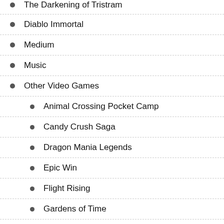The Darkening of Tristram
Diablo Immortal
Medium
Music
Other Video Games
Animal Crossing Pocket Camp
Candy Crush Saga
Dragon Mania Legends
Epic Win
Flight Rising
Gardens of Time